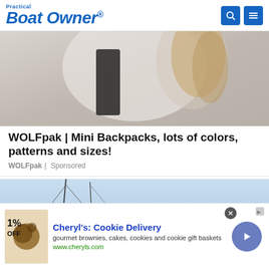Practical Boat Owner
[Figure (photo): Person wearing a white hoodie with black ribbon/bow detail, viewed from behind, with blonde hair]
WOLFpak | Mini Backpacks, lots of colors, patterns and sizes!
WOLFpak | Sponsored
[Figure (photo): Sailing boat masts against a light blue sky with dry landscape in the background]
[Figure (infographic): Advertisement banner: Cheryl's Cookie Delivery - gourmet brownies, cakes, cookies and cookie gift baskets. www.cheryls.com. Shows cookies/brownies image on left with 1% OFF coupon text, brand name in blue, and a circular go button on the right.]